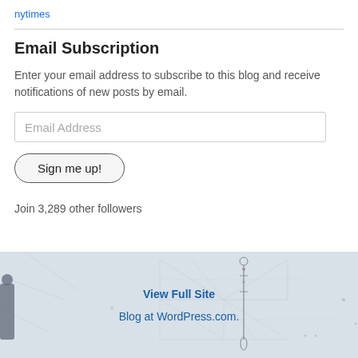nytimes
Email Subscription
Enter your email address to subscribe to this blog and receive notifications of new posts by email.
Email Address
Sign me up!
Join 3,289 other followers
[Figure (photo): Background image with light textured cracked surface and geometric line pattern, with an ornamental vertical hanging element on the right side and a figure visible on the far left.]
View Full Site
Blog at WordPress.com.